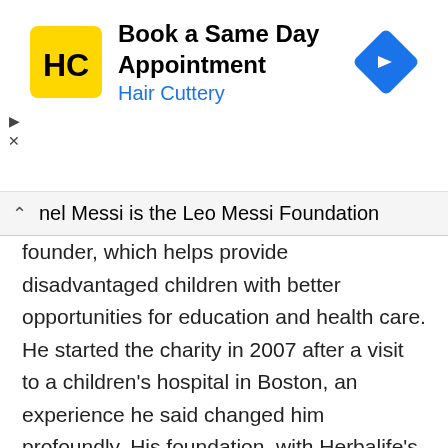[Figure (infographic): Hair Cuttery advertisement banner with yellow HC logo, text 'Book a Same Day Appointment / Hair Cuttery', and blue navigation diamond icon on the right. Small play and close controls on lower left.]
nel Messi is the Leo Messi Foundation founder, which helps provide disadvantaged children with better opportunities for education and health care. He started the charity in 2007 after a visit to a children's hospital in Boston, an experience he said changed him profoundly. His foundation, with Herbalife's help, helps pay for medical treatment, transportation, and recovery for children diagnosed with major medical problems. Messi also is a UNICEF